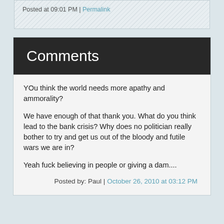Posted at 09:01 PM | Permalink
Comments
YOu think the world needs more apathy and ammorality?
We have enough of that thank you. What do you think lead to the bank crisis? Why does no politician really bother to try and get us out of the bloody and futile wars we are in?
Yeah fuck believing in people or giving a dam....
Posted by: Paul | October 26, 2010 at 03:12 PM